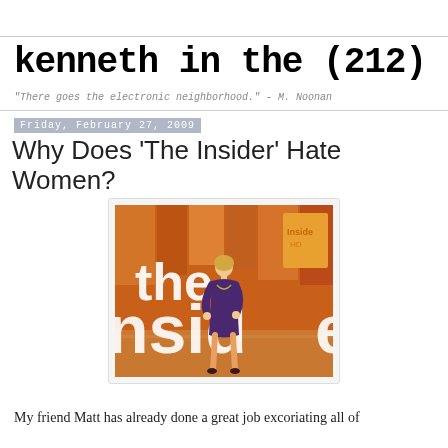kenneth in the (212)
"There goes the electronic neighborhood." - M. Noonan
Friday, February 27, 2009
Why Does 'The Insider' Hate Women?
[Figure (photo): A woman in a purple dress standing on the set of 'The Insider' TV show, with large white letters spelling out 'The Insider' in the background and warm orange/amber studio lighting]
My friend Matt has already done a great job excoriating all of